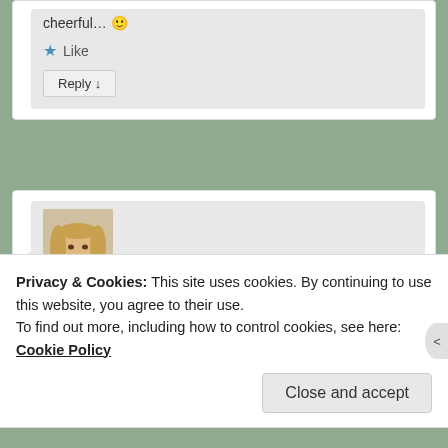cheerful… 🙂
★ Like
Reply ↓
[Figure (photo): Profile photo of Melanie Gagon, a woman with long blonde hair smiling]
Melanie Gagon on October 4, 2021 at 3:36 pm said:
So pretty!!
Privacy & Cookies: This site uses cookies. By continuing to use this website, you agree to their use.
To find out more, including how to control cookies, see here: Cookie Policy
Close and accept